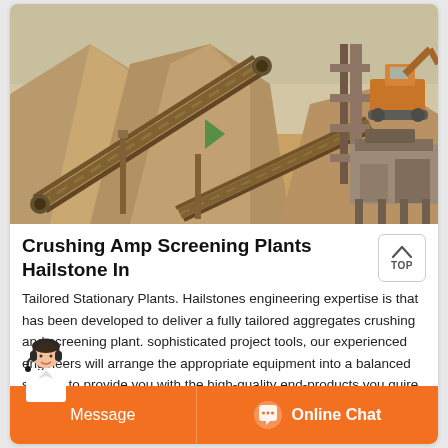[Figure (photo): Aerial/ground view of a large aggregate crushing and screening plant facility with conveyor belts, piles of gravel/sand, and heavy machinery including an excavator, in an outdoor quarry/mining setting.]
Crushing Amp Screening Plants Hailstone In
Tailored Stationary Plants. Hailstones engineering expertise is that has been developed to deliver a fully tailored aggregates crushing and screening plant. sophisticated project tools, our experienced engineers will arrange the appropriate equipment into a balanced system to provide you with the high-quality end-products you quire, at the lowest cost per ton.